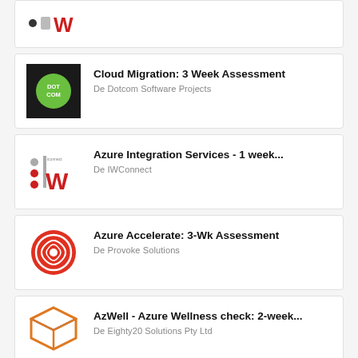[Figure (logo): IWConnect logo (partial, cropped): red W with dots]
[Figure (logo): De Dotcom Software Projects logo: black background with green circle DOTCOM text]
Cloud Migration: 3 Week Assessment
De Dotcom Software Projects
[Figure (logo): IWConnect logo: red W with dots and iconnect text]
Azure Integration Services - 1 week...
De IWConnect
[Figure (logo): Provoke Solutions logo: red circular emblem]
Azure Accelerate: 3-Wk Assessment
De Provoke Solutions
[Figure (logo): Eighty20 Solutions Pty Ltd logo: orange/blue box outline icon]
AzWell - Azure Wellness check: 2-week...
De Eighty20 Solutions Pty Ltd